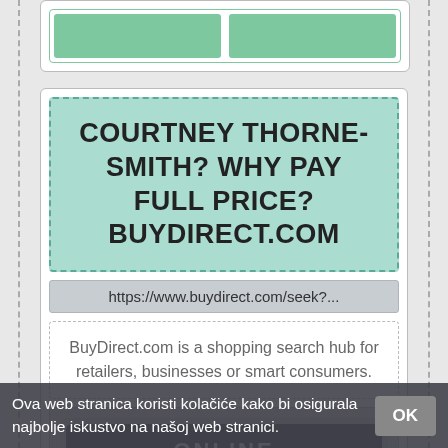[Figure (screenshot): Partial top card with two green buttons visible at top of page]
COURTNEY THORNE-SMITH? WHY PAY FULL PRICE? BUYDIRECT.COM
https://www.buydirect.com/seek?...
BuyDirect.com is a shopping search hub for retailers, businesses or smart consumers.
ONLINE
PREGLED
POGLED
Ova web stranica koristi kolačiće kako bi osigurala najbolje iskustvo na našoj web stranici.